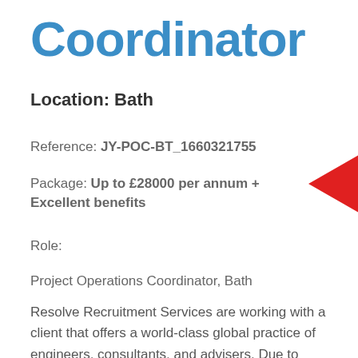Coordinator
Location: Bath
Reference: JY-POC-BT_1660321755
Package: Up to £28000 per annum + Excellent benefits
Role:
Project Operations Coordinator, Bath
Resolve Recruitment Services are working with a client that offers a world-class global practice of engineers, consultants, and advisers. Due to growth, our client now seeks a Project Operations